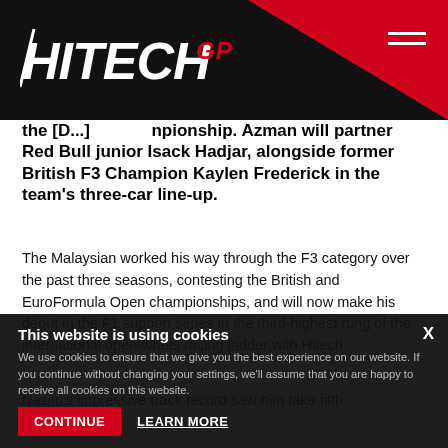HITECH GP
the [D...] Championship. Azman will partner Red Bull junior Isack Hadjar, alongside former British F3 Champion Kaylen Frederick in the team's three-car line-up.
The Malaysian worked his way through the F3 category over the past three seasons, contesting the British and EuroFormula Open championships, and will now make his debut in the F1 support series in the third-highest rung of the international open-wheel racing ladder with Hitech.
Nazim's impressive track record saw him take fifth overall in 202[...] claiming two finish[...] at the Red Bull Ring highlighted by a [raid/mid] victor[y] at the Red Bull Ring to add[...]
This website is using cookies
We use cookies to ensure that we give you the best experience on our website. If you continue without changing your settings, we'll assume that you are happy to receive all cookies on this website.
Continue  Learn more